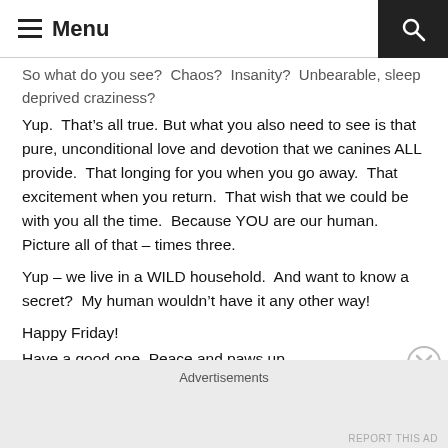Menu
So what do you see?  Chaos?  Insanity?  Unbearable, sleep deprived craziness?
Yup.  That’s all true. But what you also need to see is that pure, unconditional love and devotion that we canines ALL provide.  That longing for you when you go away.  That excitement when you return.  That wish that we could be with you all the time.  Because YOU are our human.  Picture all of that – times three.
Yup – we live in a WILD household.  And want to know a secret?  My human wouldn’t have it any other way!
Happy Friday!
Have a good one. Peace and paws up.
Advertisements